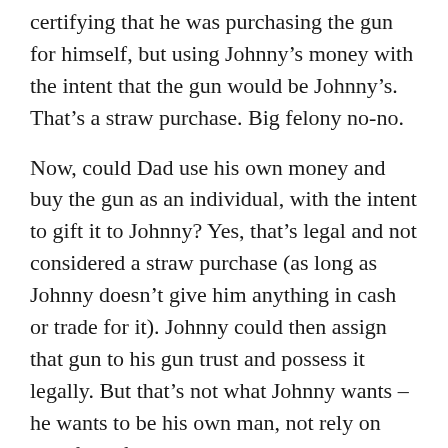certifying that he was purchasing the gun for himself, but using Johnny's money with the intent that the gun would be Johnny's. That's a straw purchase. Big felony no-no.
Now, could Dad use his own money and buy the gun as an individual, with the intent to gift it to Johnny? Yes, that's legal and not considered a straw purchase (as long as Johnny doesn't give him anything in cash or trade for it). Johnny could then assign that gun to his gun trust and possess it legally. But that's not what Johnny wants – he wants to be his own man, not rely on Dad for gifts.